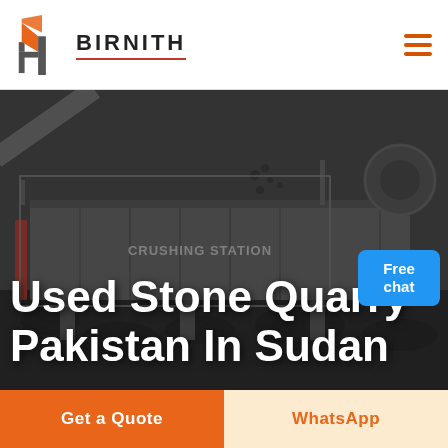BIRNITH
[Figure (photo): Industrial stone crushing station machinery with conveyor belt and large stone crusher, dark industrial setting with rocks in foreground. Text 'CRUSHING STATION' visible on machinery.]
Used Stone Quarry Pakistan In Sudan
[Figure (illustration): Small blue chat bubble with text 'Free chat' and customer support representative icon]
Get a Quote
WhatsApp